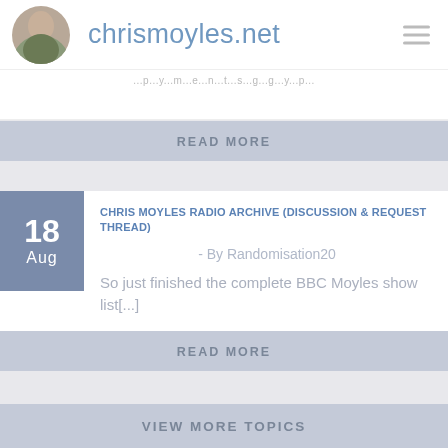chrismoyles.net
READ MORE
CHRIS MOYLES RADIO ARCHIVE (DISCUSSION & REQUEST THREAD)
- By Randomisation20
So just finished the complete BBC Moyles show list[...]
READ MORE
VIEW MORE TOPICS